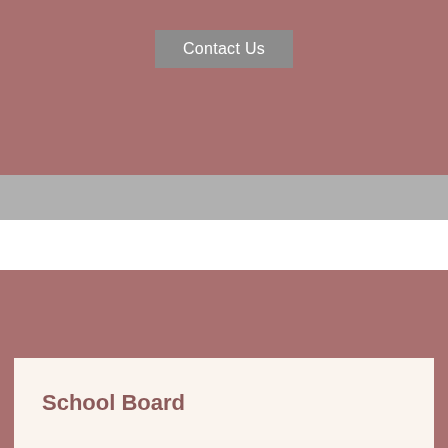Contact Us
SCHOOL BOARD
School Board